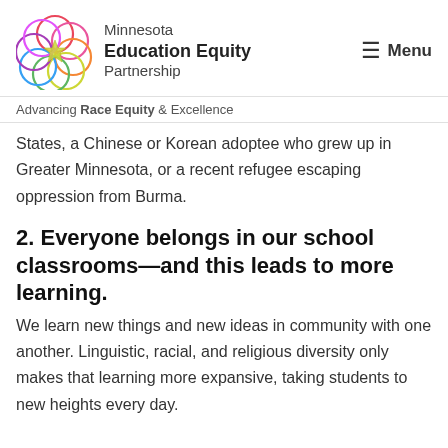[Figure (logo): Minnesota Education Equity Partnership logo — colorful interlocking circles (flower of life pattern) in red, pink, orange, green, blue, purple with a star/compass shape in center]
Minnesota Education Equity Partnership — Menu
Advancing Race Equity & Excellence
States, a Chinese or Korean adoptee who grew up in Greater Minnesota, or a recent refugee escaping oppression from Burma.
2. Everyone belongs in our school classrooms—and this leads to more learning.
We learn new things and new ideas in community with one another. Linguistic, racial, and religious diversity only makes that learning more expansive, taking students to new heights every day. Knowledge gained by diverse and inclusive